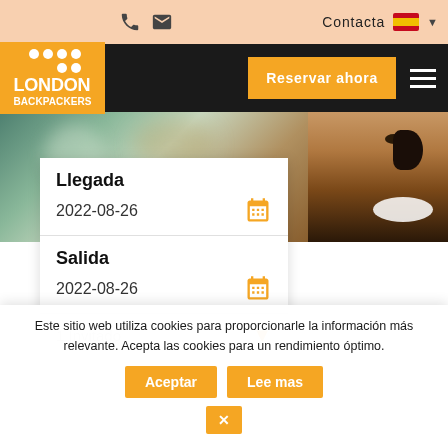London Backpackers – Contacta – Reservar ahora
[Figure (screenshot): London Backpackers hostel booking website screenshot with header navigation, hero image of smiling man, booking form with arrival/departure dates 2022-08-26, and a cookies consent banner.]
Llegada
2022-08-26
Salida
2022-08-26
1 Invitado
Este sitio web utiliza cookies para proporcionarle la información más relevante. Acepta las cookies para un rendimiento óptimo.
Aceptar
Lee mas